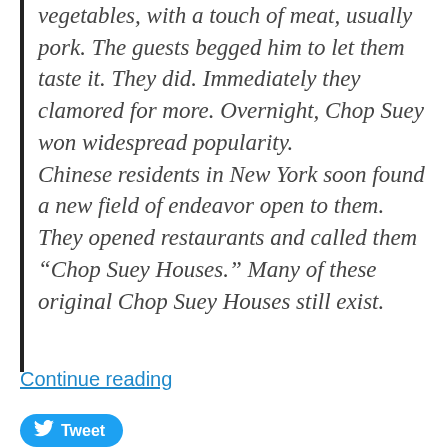vegetables, with a touch of meat, usually pork. The guests begged him to let them taste it. They did. Immediately they clamored for more. Overnight, Chop Suey won widespread popularity. Chinese residents in New York soon found a new field of endeavor open to them. They opened restaurants and called them “Chop Suey Houses.” Many of these original Chop Suey Houses still exist.
Continue reading
Tweet